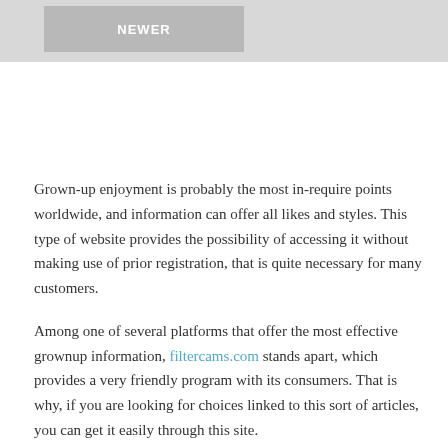[Figure (other): Gray banner at top with a button labeled NEWER]
Grown-up enjoyment is probably the most in-require points worldwide, and information can offer all likes and styles. This type of website provides the possibility of accessing it without making use of prior registration, that is quite necessary for many customers.
Among one of several platforms that offer the most effective grownup information, filtercams.com stands apart, which provides a very friendly program with its consumers. That is why, if you are looking for choices linked to this sort of articles, you can get it easily through this site.